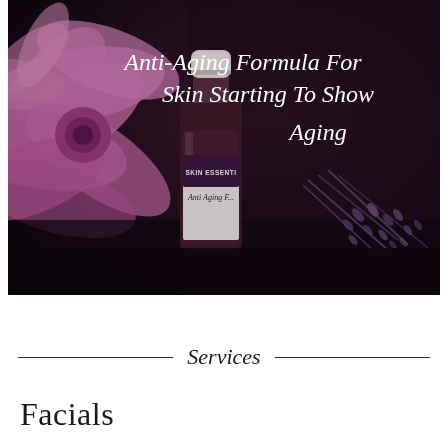[Figure (photo): A dark atmospheric photo showing a small amber essential oil bottle labeled 'SKIN ESSENTIALS Anti Aging F...' with a white cap, surrounded by pink dahlia flowers on the left and dried lavender sprigs on the right, on a dark background. White italic text overlay reads 'Anti-Aging Formula For Skin Starting To Show Aging'.]
Services
Facials